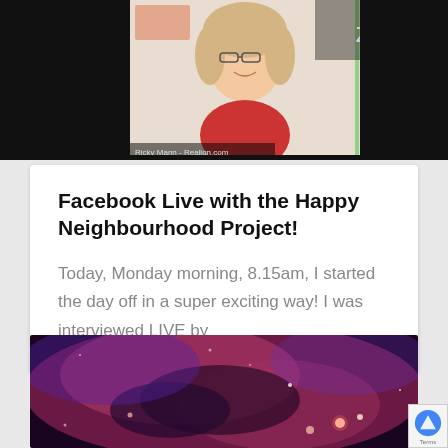[Figure (photo): Screenshot of a Zoom video call showing a smiling woman with blonde hair and glasses, wearing a red top. The Zoom logo is visible in the bottom right of the video. The background of the Zoom call shows a wall with artwork. Black bars frame the top and bottom of the screenshot.]
Facebook Live with the Happy Neighbourhood Project!
Today, Monday morning, 8.15am, I started the day off in a super exciting way!  I was interviewed LIVE by
[Figure (photo): A nebula or galaxy photograph showing deep purple, pink, and red cosmic clouds with stars and bright light spots scattered throughout.]